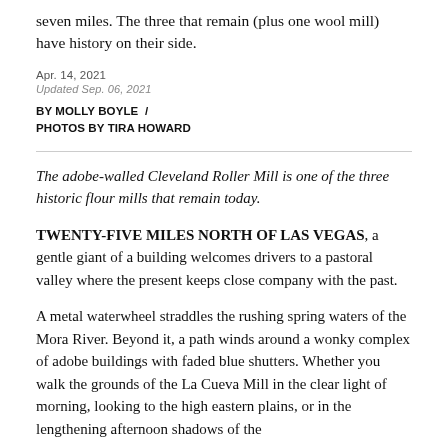seven miles. The three that remain (plus one wool mill) have history on their side.
Apr. 14, 2021
Updated Sep. 06, 2021
BY MOLLY BOYLE  /
PHOTOS BY TIRA HOWARD
The adobe-walled Cleveland Roller Mill is one of the three historic flour mills that remain today.
TWENTY-FIVE MILES NORTH OF LAS VEGAS, a gentle giant of a building welcomes drivers to a pastoral valley where the present keeps close company with the past.
A metal waterwheel straddles the rushing spring waters of the Mora River. Beyond it, a path winds around a wonky complex of adobe buildings with faded blue shutters. Whether you walk the grounds of the La Cueva Mill in the clear light of morning, looking to the high eastern plains, or in the lengthening afternoon shadows of the